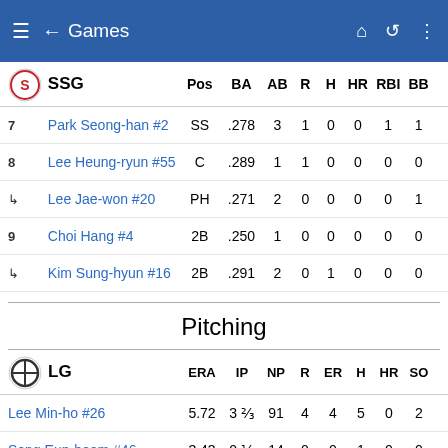Games
| SSG | Pos | BA | AB | R | H | HR | RBI | BB |
| --- | --- | --- | --- | --- | --- | --- | --- | --- |
| 7 Park Seong-han #2 | SS | .278 | 3 | 1 | 0 | 0 | 1 | 1 |
| 8 Lee Heung-ryun #55 | C | .289 | 1 | 1 | 0 | 0 | 0 | 0 |
| ↳ Lee Jae-won #20 | PH | .271 | 2 | 0 | 0 | 0 | 0 | 1 |
| 9 Choi Hang #4 | 2B | .250 | 1 | 0 | 0 | 0 | 0 | 0 |
| ↳ Kim Sung-hyun #16 | 2B | .291 | 2 | 0 | 1 | 0 | 0 | 0 |
Pitching
| LG | ERA | IP | NP | R | ER | H | HR | SO |
| --- | --- | --- | --- | --- | --- | --- | --- | --- |
| Lee Min-ho #26 | 5.72 | 3 ⅔ | 91 | 4 | 4 | 5 | 0 | 2 |
| Song Eun-beom #46 | 3.43 | 0 ⅓ | 14 | 0 | 0 | 1 | 0 | 0 |